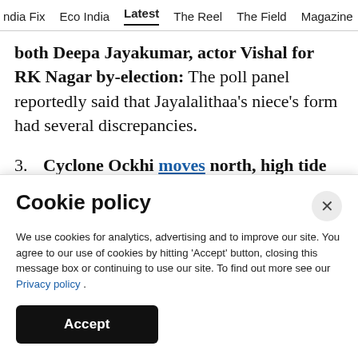ndia Fix   Eco India   Latest   The Reel   The Field   Magazine
both Deepa Jayakumar, actor Vishal for RK Nagar by-election: The poll panel reportedly said that Jayalalithaa's niece's form had several discrepancies.
3. Cyclone Ockhi moves north, high tide hits Goa shacks, schools shut in Mumbai: Various agencies have rescued 1,540 people, including
Cookie policy
We use cookies for analytics, advertising and to improve our site. You agree to our use of cookies by hitting 'Accept' button, closing this message box or continuing to use our site. To find out more see our Privacy policy .
Accept